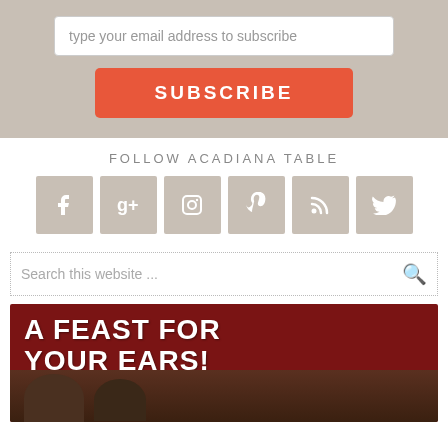type your email address to subscribe
SUBSCRIBE
FOLLOW ACADIANA TABLE
[Figure (infographic): Social media icons for Facebook, Google+, Instagram, Pinterest, RSS, and Twitter in grey square buttons]
Search this website ...
[Figure (infographic): Promotional banner with dark red background showing text 'A FEAST FOR YOUR EARS!' with two people visible below (man with green cap and woman)]